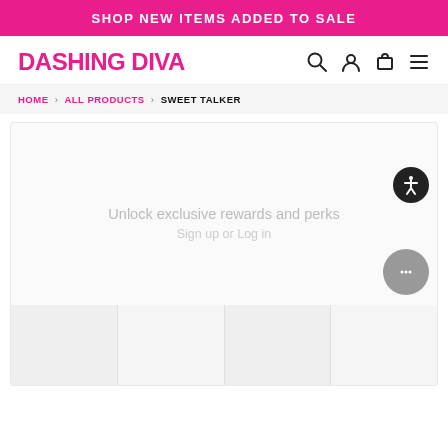SHOP NEW ITEMS ADDED TO SALE
[Figure (logo): Dashing Diva logo in pink, navigation icons: search, account, cart, menu]
HOME › ALL PRODUCTS › SWEET TALKER
[Figure (photo): Product image area showing blurred/loading state with overlay text: Unlock exclusive rewards and perks. Sign up or Log in. Thumbnail row at bottom.]